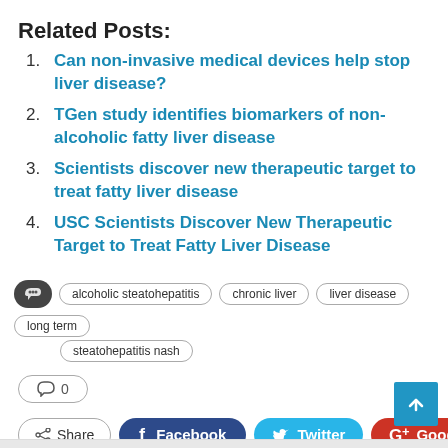Related Posts:
Can non-invasive medical devices help stop liver disease?
TGen study identifies biomarkers of non-alcoholic fatty liver disease
Scientists discover new therapeutic target to treat fatty liver disease
USC Scientists Discover New Therapeutic Target to Treat Fatty Liver Disease
alcoholic steatohepatitis  chronic liver  liver disease  long term  steatohepatitis nash
0
Share  Facebook  Twitter  Google+